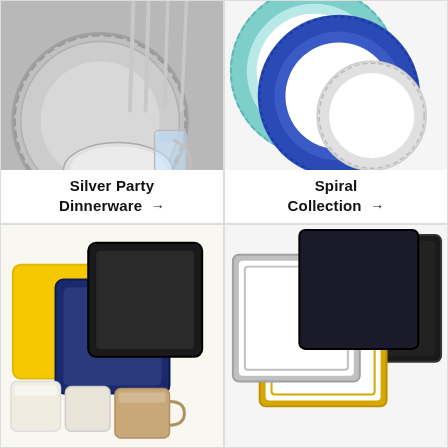[Figure (photo): Silver party dinnerware set with silver plate, clear cup, and silver cutlery on dark background]
Silver Party Dinnerware →
[Figure (photo): Spiral collection dinnerware showing round plates with teal and navy blue spiral patterned borders on white background]
Spiral Collection →
[Figure (photo): Square dinnerware collection with yellow, navy, and black square plates, plus cream cups and tan mug]
[Figure (photo): Square dinnerware with silver/white and gold-trimmed plates, plus black square plates on white background]